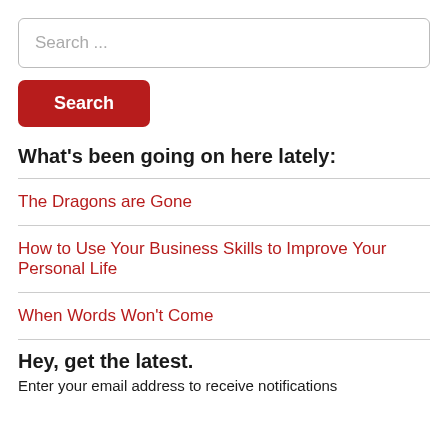Search ...
Search
What’s been going on here lately:
The Dragons are Gone
How to Use Your Business Skills to Improve Your Personal Life
When Words Won’t Come
Hey, get the latest.
Enter your email address to receive notifications